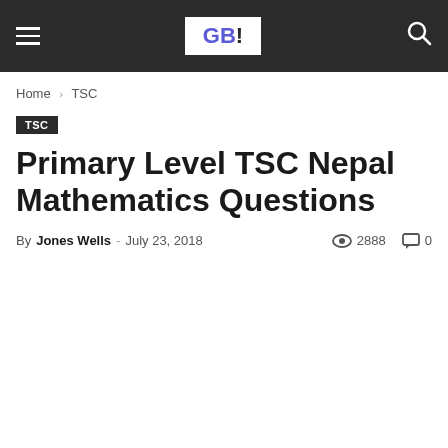GB | Home › TSC
TSC
Primary Level TSC Nepal Mathematics Questions
By Jones Wells - July 23, 2018   2888   0